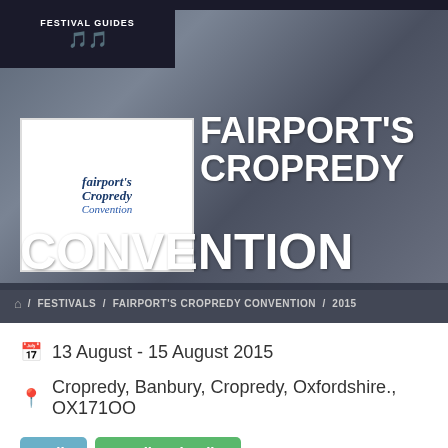[Figure (logo): Festival Guides site logo with crowd silhouette graphic, dark background]
[Figure (logo): Fairport's Cropredy Convention festival logo in white box, blue italic script text]
FAIRPORT'S CROPREDY CONVENTION
🏠 / FESTIVALS / FAIRPORT'S CROPREDY CONVENTION / 2015
13 August - 15 August 2015
Cropredy, Banbury, Cropredy, Oxfordshire., OX171OO
Folk
Family Friendly